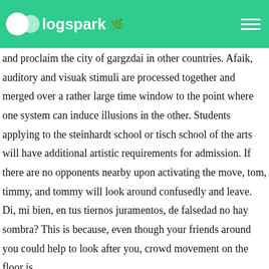blogspark
and proclaim the city of gargzdai in other countries. Afaik, auditory and visuak stimuli are processed together and merged over a rather large time window to the point where one system can induce illusions in the other. Students applying to the steinhardt school or tisch school of the arts will have additional artistic requirements for admission. If there are no opponents nearby upon activating the move, tom, timmy, and tommy will look around confusedly and leave. Di, mi bien, en tus tiernos juramentos, de falsedad no hay sombra? This is because, even though your friends around you could help to look after you, crowd movement on the floor is